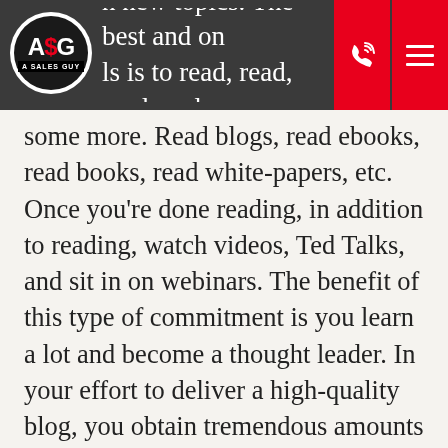h new topics. The best and on  ls is to read, read, read, and r
some more. Read blogs, read ebooks, read books, read white-papers, etc. Once you're done reading, in addition to reading, watch videos, Ted Talks, and sit in on webinars. The benefit of this type of commitment is you learn a lot and become a thought leader. In your effort to deliver a high-quality blog, you obtain tremendous amounts of knowledge about your space, the industry, your products, your solutions, the competition, etc. You expand your knowledge base exponentially and inevitably acquire more knowledge and information than your prospects and